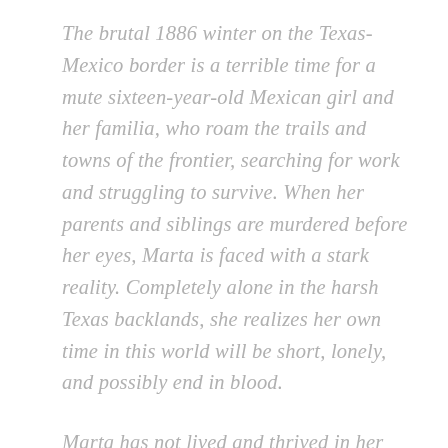The brutal 1886 winter on the Texas-Mexico border is a terrible time for a mute sixteen-year-old Mexican girl and her familia, who roam the trails and towns of the frontier, searching for work and struggling to survive. When her parents and siblings are murdered before her eyes, Marta is faced with a stark reality. Completely alone in the harsh Texas backlands, she realizes her own time in this world will be short, lonely, and possibly end in blood.
Marta has not lived and thrived in her hardscrabble life thus far to give up without a